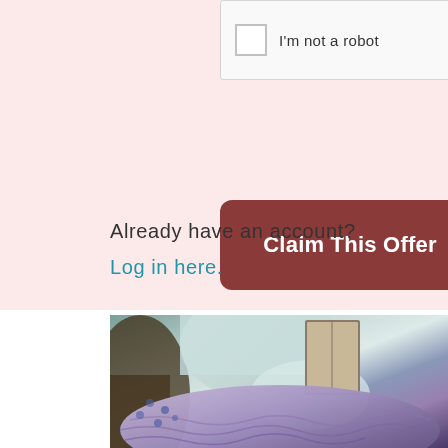[Figure (screenshot): reCAPTCHA widget showing checkbox and 'I'm not a robot' label with reCAPTCHA logo, Privacy and Terms links]
[Figure (other): Button labeled 'Claim This Offer' with dark reddish-brown background and white bold text, rounded corners]
Already have an account?
Log in here.
[Figure (photo): Photo of a person sitting in a chair, wearing a light blue sweater and holding a book, with purple/lavender knitted fabric visible in the foreground]